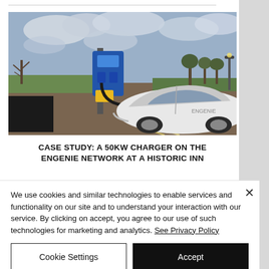[Figure (photo): A white electric vehicle plugged into a blue 50kW EV charging station in a car park, with bare trees and cloudy sky in the background.]
CASE STUDY: A 50KW CHARGER ON THE ENGENIE NETWORK AT A HISTORIC INN
We use cookies and similar technologies to enable services and functionality on our site and to understand your interaction with our service. By clicking on accept, you agree to our use of such technologies for marketing and analytics. See Privacy Policy